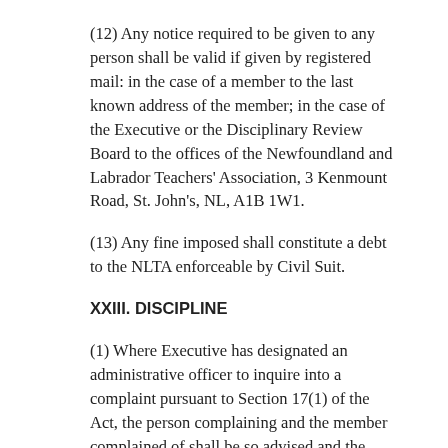(12) Any notice required to be given to any person shall be valid if given by registered mail: in the case of a member to the last known address of the member; in the case of the Executive or the Disciplinary Review Board to the offices of the Newfoundland and Labrador Teachers' Association, 3 Kenmount Road, St. John's, NL, A1B 1W1.
(13) Any fine imposed shall constitute a debt to the NLTA enforceable by Civil Suit.
XXIII. DISCIPLINE
(1) Where Executive has designated an administrative officer to inquire into a complaint pursuant to Section 17(1) of the Act, the person complaining and the member complained of shall be so advised and the member complained of